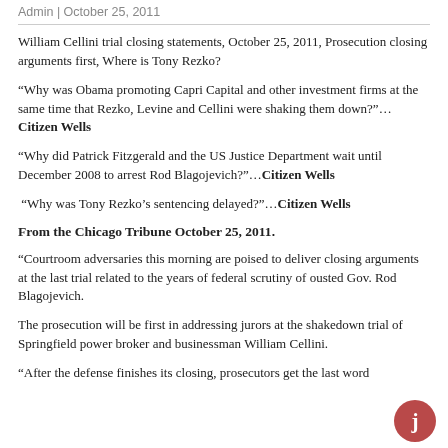Admin | October 25, 2011
William Cellini trial closing statements, October 25, 2011, Prosecution closing arguments first, Where is Tony Rezko?
“Why was Obama promoting Capri Capital and other investment firms at the same time that Rezko, Levine and Cellini were shaking them down?”…Citizen Wells
“Why did Patrick Fitzgerald and the US Justice Department wait until December 2008 to arrest Rod Blagojevich?”…Citizen Wells
“Why was Tony Rezko’s sentencing delayed?”…Citizen Wells
From the Chicago Tribune October 25, 2011.
“Courtroom adversaries this morning are poised to deliver closing arguments at the last trial related to the years of federal scrutiny of ousted Gov. Rod Blagojevich.
The prosecution will be first in addressing jurors at the shakedown trial of Springfield power broker and businessman William Cellini.
“After the defense finishes its closing, prosecutors get the last word